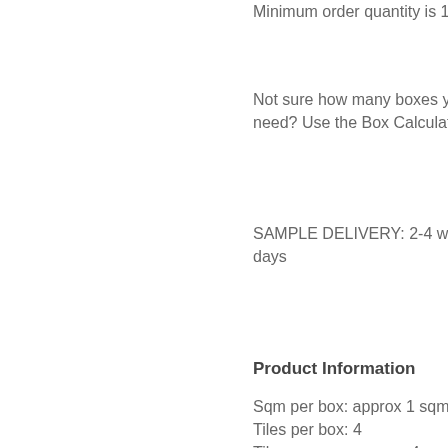Minimum order quantity is 1 box
Not sure how many boxes you need? Use the Box Calculator
SAMPLE DELIVERY: 2-4 working days
Product Information
Sqm per box: approx 1 sqm
Tiles per box: 4
Tiles per sqm: approx 4